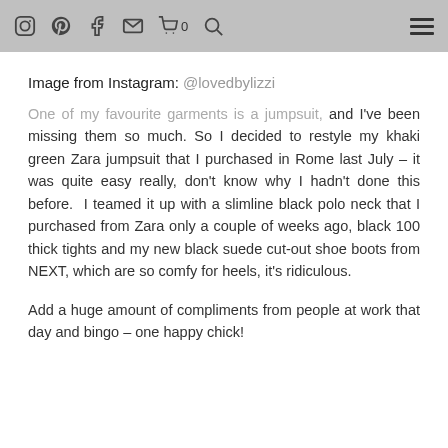[icons: Instagram, Pinterest, Facebook, Email, Cart 0, Search] [hamburger menu]
Image from Instagram: @lovedbylizzi
One of my favourite garments is a jumpsuit, and I've been missing them so much. So I decided to restyle my khaki green Zara jumpsuit that I purchased in Rome last July – it was quite easy really, don't know why I hadn't done this before.  I teamed it up with a slimline black polo neck that I purchased from Zara only a couple of weeks ago, black 100 thick tights and my new black suede cut-out shoe boots from NEXT, which are so comfy for heels, it's ridiculous.
Add a huge amount of compliments from people at work that day and bingo – one happy chick!